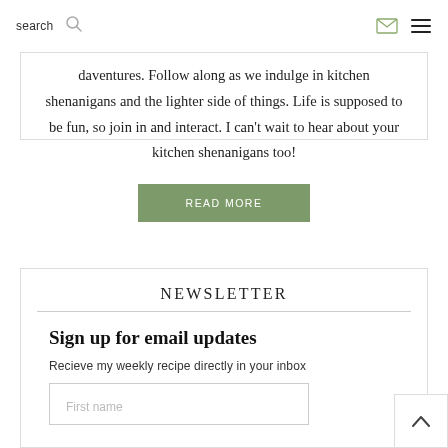search
daventures. Follow along as we indulge in kitchen shenanigans and the lighter side of things. Life is supposed to be fun, so join in and interact. I can't wait to hear about your kitchen shenanigans too!
READ MORE
NEWSLETTER
Sign up for email updates
Recieve my weekly recipe directly in your inbox
First name